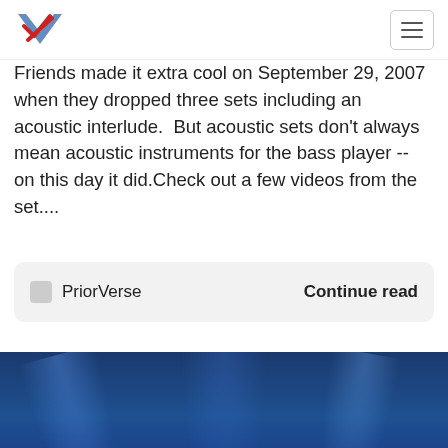PriorVerse logo and navigation
Friends made it extra cool on September 29, 2007 when they dropped three sets including an acoustic interlude.  But acoustic sets don't always mean acoustic instruments for the bass player -- on this day it did.Check out a few videos from the set....
PriorVerse   Continue read
[Figure (photo): Five band members standing on stage, all wearing black t-shirts, with blue stage lighting behind them. A guitar is visible on the left side. A foreground audience head is partially visible at the bottom.]